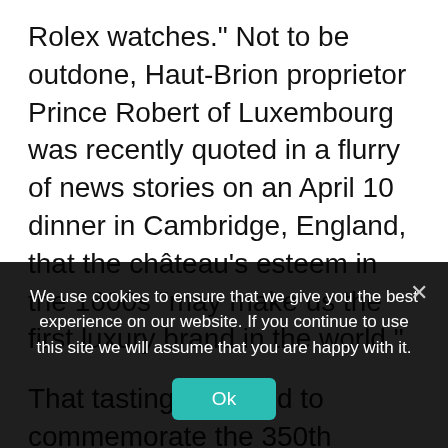Rolex watches." Not to be outdone, Haut-Brion proprietor Prince Robert of Luxembourg was recently quoted in a flurry of news stories on an April 10 dinner in Cambridge, England, that the château's esteem in the 1600s "may make us the first luxury brand in the world."
That tasting was held to commemorate the 350th anniversary of Haut-Brion's mention in the diary of Samuel Pepys, a watershed event at the "Royall Oak Taverne in Lumbard Street," which Anson of course covers in her book. But
We use cookies to ensure that we give you the best experience on our website. If you continue to use this site we will assume that you are happy with it.